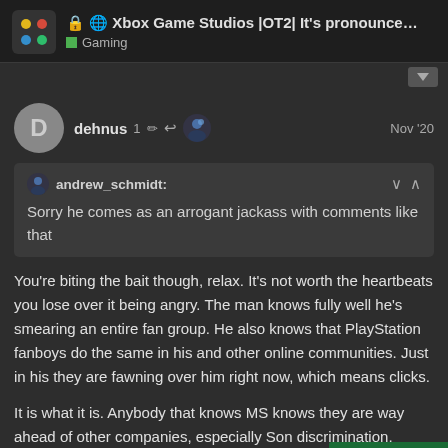Xbox Game Studios |OT2| It's pronounced "… — Gaming
dehnus  1 ✏ ↩  Nov '20
andrew_schmidt:
Sorry he comes as an arrogant jackass with comments like that
You're biting the bait though, relax. It's not worth the heartbeats you lose over it being angry. The man knows fully well he's smearing an entire fan group. He also knows that PlayStation fanboys do the same in his and other online communities. Just in his they are fawning over him right now, which means clicks.
It is what it is. Anybody that knows MS knows they are way ahead of other companies, especially Son  discrimination, LGBTQ+ acceptance/polici
7237 / 9953